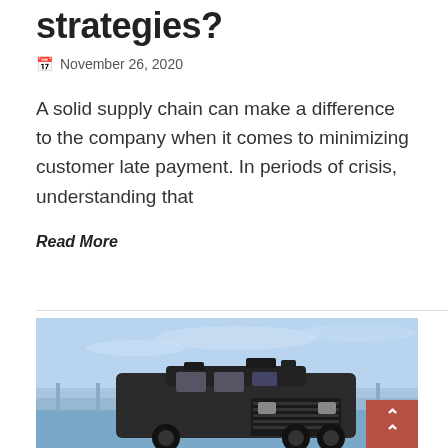strategies?
November 26, 2020
A solid supply chain can make a difference to the company when it comes to minimizing customer late payment. In periods of crisis, understanding that
Read More
[Figure (photo): A black armored military-style truck photographed near a waterfront with a blue sky background]